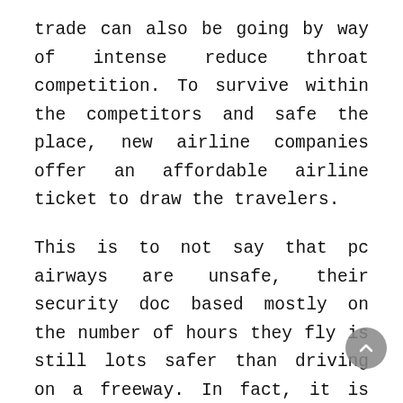trade can also be going by way of intense reduce throat competition. To survive within the competitors and safe the place, new airline companies offer an affordable airline ticket to draw the travelers.

This is to not say that pc airways are unsafe, their security doc based mostly on the number of hours they fly is still lots safer than driving on a freeway. In fact, it is about as protected as driving on a bus, and the probabilities of you moving into an accident or dying on such a commuter flight are very low. Nevertheless, they're much greater than the potential